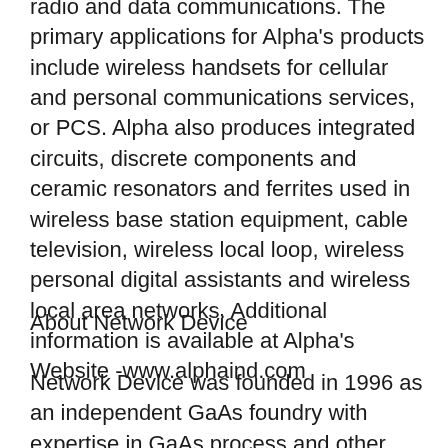radio and data communications. The primary applications for Alpha's products include wireless handsets for cellular and personal communications services, or PCS. Alpha also produces integrated circuits, discrete components and ceramic resonators and ferrites used in wireless base station equipment, cable television, wireless local loop, wireless personal digital assistants and wireless local area networks. Additional information is available at Alpha's Website -www.alphaind.com
About Network Device
Network Device was founded in 1996 as an independent GaAs foundry with expertise in GaAs process and other advanced semiconductor